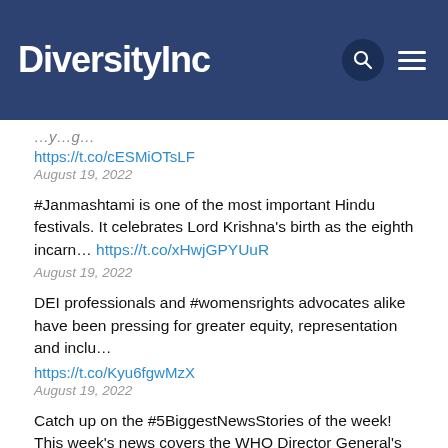DiversityInc
https://t.co/cESMiOTsLF
August 19, 2022
#Janmashtami is one of the most important Hindu festivals. It celebrates Lord Krishna's birth as the eighth incarn… https://t.co/xHwjGPYUuR
August 19, 2022
DEI professionals and #womensrights advocates alike have been pressing for greater equity, representation and inclu… https://t.co/Kyu6fgwMzX
August 19, 2022
Catch up on the #5BiggestNewsStories of the week! This week's news covers the WHO Director General's reason for why…